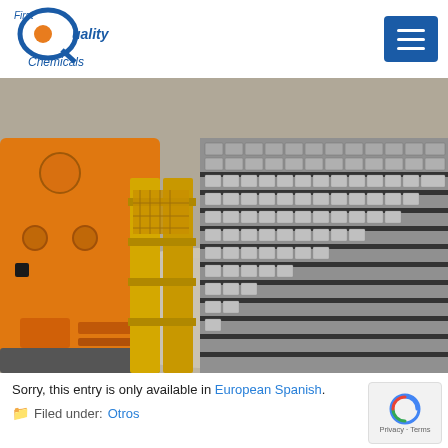First Quality Chemicals
[Figure (photo): Industrial manufacturing machinery — orange robotic arm on the left, yellow conveyor/rail system in the center, and rows of metallic components on the right. Industrial facility scene.]
Sorry, this entry is only available in European Spanish.
Filed under: Otros